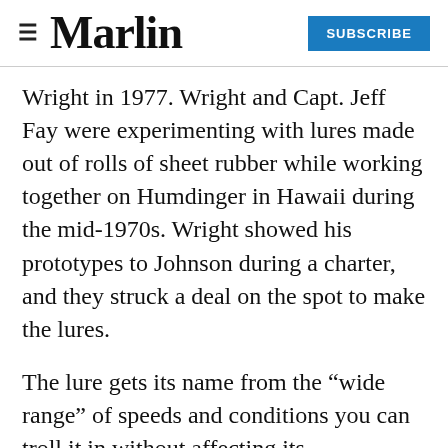≡  Marlin  SUBSCRIBE
Wright in 1977. Wright and Capt. Jeff Fay were experimenting with lures made out of rolls of sheet rubber while working together on Humdinger in Hawaii during the mid-1970s. Wright showed his prototypes to Johnson during a charter, and they struck a deal on the spot to make the lures.
The lure gets its name from the “wide range” of speeds and conditions you can troll it in without affecting its performance. With its squared-off nose